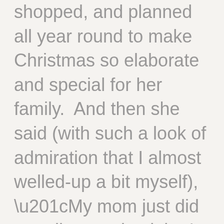shopped, and planned all year round to make Christmas so elaborate and special for her family.  And then she said (with such a look of admiration that I almost welled-up a bit myself), “My mom just did a really amazing job.  I believed in Santa until I was way too old to believe because I just knew there was no way my parents could make everything so magical.”

Now I stopped believing in magic